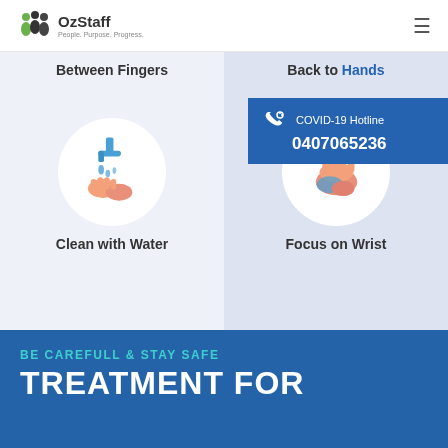[Figure (logo): OzStaff logo with tagline People. Purpose. Progress.]
Between Fingers
Back to Hands
[Figure (illustration): Hands being rinsed under running water tap in circular frame]
[Figure (illustration): Hand being scrubbed/wiped cloth in circular frame]
COVID-19 Hotline
0407065236
Clean with Water
Focus on Wrist
BE CAREFULL & STAY SAFE
TREATMENT FOR